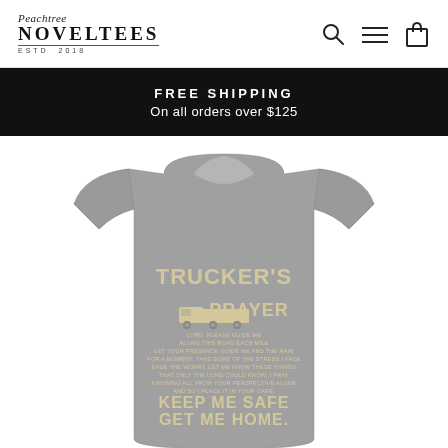[Figure (logo): Peachtree Noveltees logo with script text and bold serif uppercase letters, ESTD 2018]
[Figure (infographic): Navigation icons: search magnifying glass, hamburger menu, shopping bag]
FREE SHIPPING
On all orders over $125
[Figure (photo): Gray long-sleeve t-shirt with 'TRUCKER'S PRAYER' graphic design featuring a semi-truck illustration and text reading 'KEEP ME SAFE GET ME HOME.']